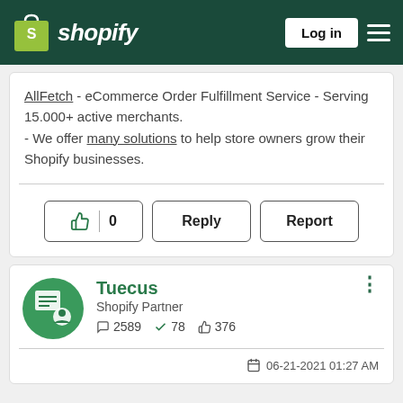Shopify — Log in
AllFetch - eCommerce Order Fulfillment Service - Serving 15.000+ active merchants.
- We offer many solutions to help store owners grow their Shopify businesses.
👍 0   Reply   Report
Tuecus
Shopify Partner
💬 2589  ✅ 78  👍 376
06-21-2021 01:27 AM